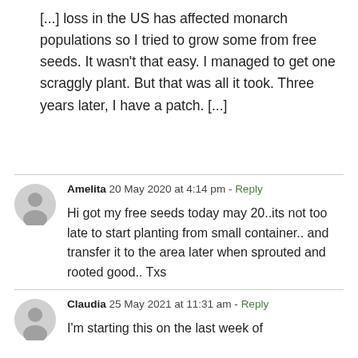[...] loss in the US has affected monarch populations so I tried to grow some from free seeds. It wasn't that easy. I managed to get one scraggly plant. But that was all it took. Three years later, I have a patch. [...]
Amelita  20 May 2020 at 4:14 pm - Reply
Hi got my free seeds today may 20..its not too late to start planting from small container.. and transfer it to the area later when sprouted and rooted good.. Txs
Claudia  25 May 2021 at 11:31 am - Reply
I'm starting this on the last week of